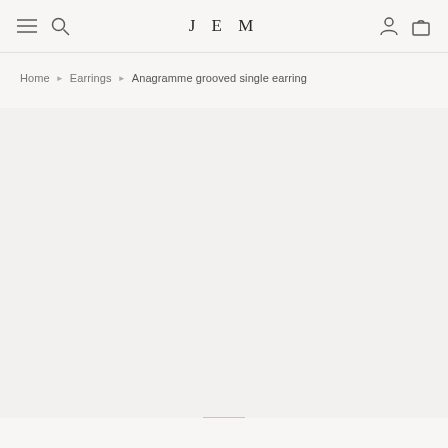JEM — navigation bar with menu, search, account, and bag icons
Home ▶ Earrings ▶ Anagramme grooved single earring
[Figure (photo): Large product image area — light gray/beige background, appears to be loading or empty product photo for the Anagramme grooved single earring page]